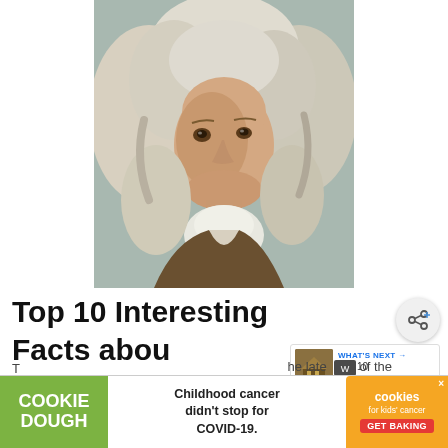[Figure (photo): Portrait painting of Jean-Antoine Watteau, a man with long curly white/gray wig wearing a brown coat with white cravat, classical oil painting style]
Top 10 Interesting Facts about Jean-Antoine Watteau
[Figure (screenshot): Share button (circular with share icon) and 'WHAT'S NEXT' overlay showing a thumbnail and text 'Top 10 Famous...']
[Figure (illustration): Cookie Dough advertisement banner: green box with 'COOKIE DOUGH', center text 'Childhood cancer didn't stop for COVID-19.', orange cookies badge with 'GET BAKING']